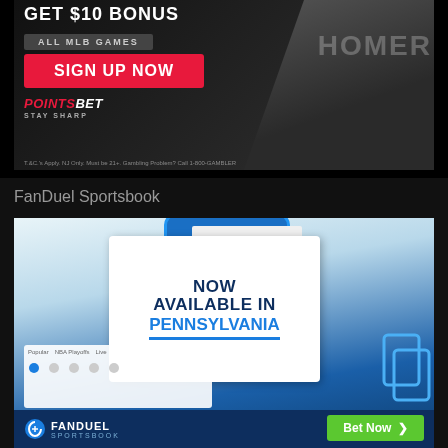[Figure (photo): PointsBet sports betting advertisement. Dark background with baseball jersey showing 'HOMER'. Text reads 'GET $10 BONUS', 'ALL MLB GAMES', red 'SIGN UP NOW' button, PointsBet logo with 'STAY SHARP' tagline, and disclaimer text.]
FanDuel Sportsbook
[Figure (photo): FanDuel Sportsbook advertisement showing a smartphone with the app. White card overlay reads 'NOW AVAILABLE IN PENNSYLVANIA' with Pennsylvania in blue underlined text. Bottom bar shows FanDuel Sportsbook logo and green 'Bet Now >' button.]